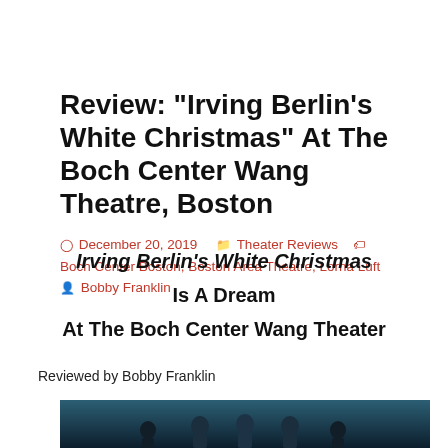Review: “Irving Berlin’s White Christmas” At The Boch Center Wang Theatre, Boston
December 20, 2019   Theater Reviews   Boch Center Boston, Boston Area Theatre, Lorna Luft   Bobby Franklin
Irving Berlin’s White Christmas
Is A Dream
At The Boch Center Wang Theater
Reviewed by Bobby Franklin
[Figure (photo): Photo of cast members from Irving Berlin's White Christmas on stage at the Boch Center Wang Theater, dark blue theatrical lighting in background]